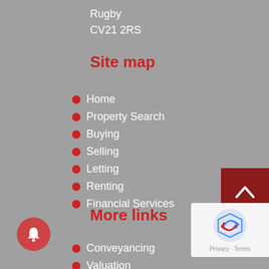Rugby
CV21 2RS
Site map
Home
Property Search
Buying
Selling
Letting
Renting
Financial Services
More links
Conveyancing
Valuation